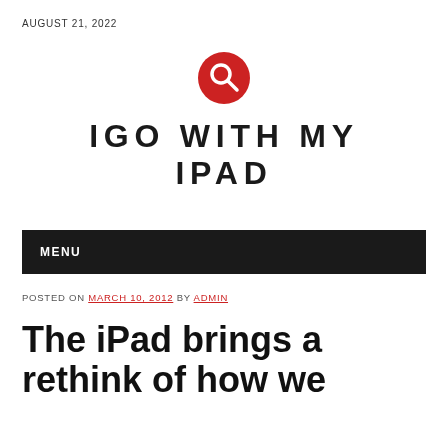AUGUST 21, 2022
[Figure (logo): Red circular search icon with white magnifying glass]
IGO WITH MY IPAD
MENU
POSTED ON MARCH 10, 2012 BY ADMIN
The iPad brings a rethink of how we